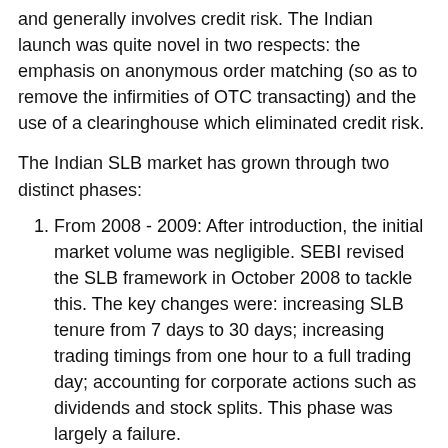and generally involves credit risk. The Indian launch was quite novel in two respects: the emphasis on anonymous order matching (so as to remove the infirmities of OTC transacting) and the use of a clearinghouse which eliminated credit risk.
The Indian SLB market has grown through two distinct phases:
From 2008 - 2009: After introduction, the initial market volume was negligible. SEBI revised the SLB framework in October 2008 to tackle this. The key changes were: increasing SLB tenure from 7 days to 30 days; increasing trading timings from one hour to a full trading day; accounting for corporate actions such as dividends and stock splits. This phase was largely a failure.
From 2010 - present: Starting January 2010, a number of market microstructure changes were introduced to improve the segment's liquidity by easing participation. These steps increased volumes significantly in percentage terms, but in absolute terms it is still a